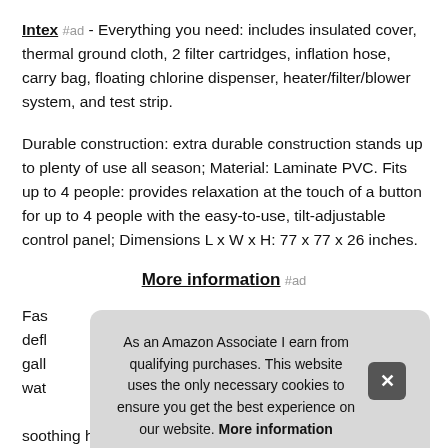Intex #ad - Everything you need: includes insulated cover, thermal ground cloth, 2 filter cartridges, inflation hose, carry bag, floating chlorine dispenser, heater/filter/blower system, and test strip.
Durable construction: extra durable construction stands up to plenty of use all season; Material: Laminate PVC. Fits up to 4 people: provides relaxation at the touch of a button for up to 4 people with the easy-to-use, tilt-adjustable control panel; Dimensions L x W x H: 77 x 77 x 26 inches.
More information #ad
Fas... defl... gall... wat... soothing high powered jets that give you the ultimate spa
As an Amazon Associate I earn from qualifying purchases. This website uses the only necessary cookies to ensure you get the best experience on our website. More information